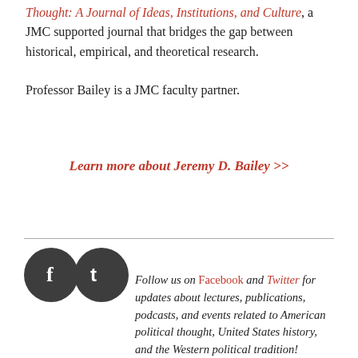Thought: A Journal of Ideas, Institutions, and Culture, a JMC supported journal that bridges the gap between historical, empirical, and theoretical research.

Professor Bailey is a JMC faculty partner.
Learn more about Jeremy D. Bailey >>
[Figure (illustration): Facebook and Twitter social media icons as dark grey circles with white f and t logos respectively]
Follow us on Facebook and Twitter for updates about lectures, publications, podcasts, and events related to American political thought, United States history, and the Western political tradition!